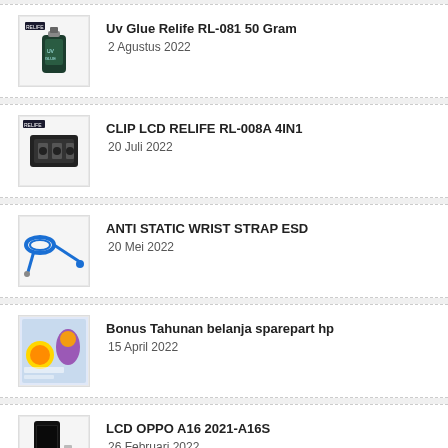Uv Glue Relife RL-081 50 Gram
2 Agustus 2022
CLIP LCD RELIFE RL-008A 4IN1
20 Juli 2022
ANTI STATIC WRIST STRAP ESD
20 Mei 2022
Bonus Tahunan belanja sparepart hp
15 April 2022
LCD OPPO A16 2021-A16S
26 Februari 2022